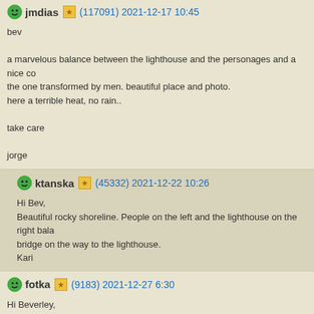jmdias (117091) 2021-12-17 10:45

bev

a marvelous balance between the lighthouse and the personages and a nice co the one transformed by men. beautiful place and photo.
here a terrible heat, no rain..

take care

jorge
ktanska (45332) 2021-12-22 10:26

Hi Bev,
Beautiful rocky shoreline. People on the left and the lighthouse on the right bala bridge on the way to the lighthouse.
Kari
fotka (9183) 2021-12-27 6:30

Hi Beverley,
Nicely composed photo with lighthouse on right side and walking people on the stone structure looks like a castle tower. Great place to enjoy the walk.
Well done with perfect quality.
Bev, wish you a happy and healthy 2022.